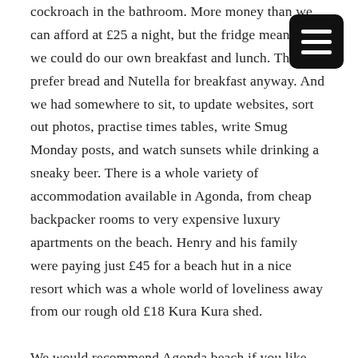cockroach in the bathroom. More money than we can afford at £25 a night, but the fridge meant that we could do our own breakfast and lunch. The boys prefer bread and Nutella for breakfast anyway. And we had somewhere to sit, to update websites, sort out photos, practise times tables, write Smug Monday posts, and watch sunsets while drinking a sneaky beer. There is a whole variety of accommodation available in Agonda, from cheap backpacker rooms to very expensive luxury apartments on the beach. Henry and his family were paying just £45 for a beach hut in a nice resort which was a whole world of loveliness away from our rough old £18 Kura Kura shed.

We would recommend Agonda beach if you like quiet, peaceful beaches with no nightlife, no noise, no hassle. Palolem Beach was lovely but busier with jet skis and kayaks and lots of boat trips and loud bars. Lovely beach but we